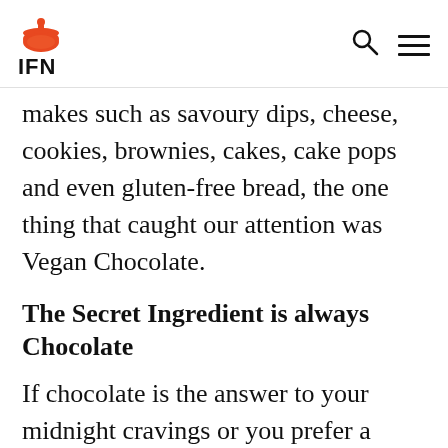IFN
makes such as savoury dips, cheese, cookies, brownies, cakes, cake pops and even gluten-free bread, the one thing that caught our attention was Vegan Chocolate.
The Secret Ingredient is always Chocolate
If chocolate is the answer to your midnight cravings or you prefer a dessert after dinner and you're a vegan, Divisha has a lot in store for you. Using premium ingredients, she makes chocolates right at home. “The very first time I made Vegan chocolates at home, I ended up using Cacao nibs, but the thing is, cacao nibs